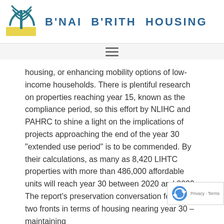[Figure (logo): B'nai B'rith Housing logo with menorah/tree symbol in blue and yellow, with organization name in large blue spaced letters]
[Figure (other): Hamburger menu icon (three horizontal lines)]
housing, or enhancing mobility options of low-income households. There is plentiful research on properties reaching year 15, known as the compliance period, so this effort by NLIHC and PAHRC to shine a light on the implications of projects approaching the end of the year 30 "extended use period" is to be commended. By their calculations, as many as 8,420 LIHTC properties with more than 486,000 affordable units will reach year 30 between 2020 and 2029. The report's preservation conversation follows two fronts in terms of housing nearing year 30 – maintaining affordability of LIHTC housing at risk of losing